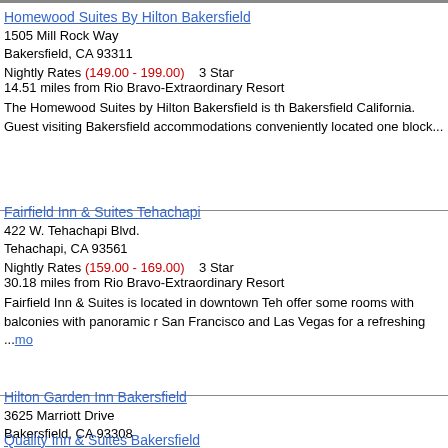Homewood Suites By Hilton Bakersfield
1505 Mill Rock Way
Bakersfield, CA 93311
Nightly Rates (149.00 - 199.00)   3 Star
14.51 miles from Rio Bravo-Extraordinary Resort
The Homewood Suites by Hilton Bakersfield is th Bakersfield California. Guest visiting Bakersfield accommodations conveniently located one block...
Fairfield Inn & Suites Tehachapi
422 W. Tehachapi Blvd.
Tehachapi, CA 93561
Nightly Rates (159.00 - 169.00)   3 Star
30.18 miles from Rio Bravo-Extraordinary Resort
Fairfield Inn & Suites is located in downtown Teh offer some rooms with balconies with panoramic r San Francisco and Las Vegas for a refreshing ...more
Hilton Garden Inn Bakersfield
3625 Marriott Drive
Bakersfield, CA 93308
Nightly Rates (184.00 - 184.00)   3 Star
10.88 miles from Rio Bravo-Extraordinary Resort
The Hilton Garden Inn Bakersfield hotel is only m the Bakersfield Airport near the intersection of Ca Owens Crystal Palace golf courses tennis jogg...more
Quality Inn & Suites Bakersfield